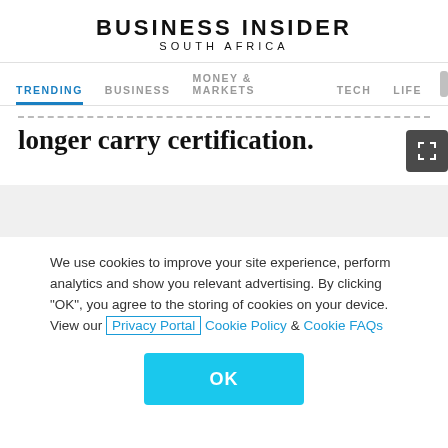BUSINESS INSIDER
SOUTH AFRICA
TRENDING  BUSINESS  MONEY & MARKETS  TECH  LIFE
longer carry certification.
We use cookies to improve your site experience, perform analytics and show you relevant advertising. By clicking "OK", you agree to the storing of cookies on your device. View our Privacy Portal Cookie Policy & Cookie FAQs
OK